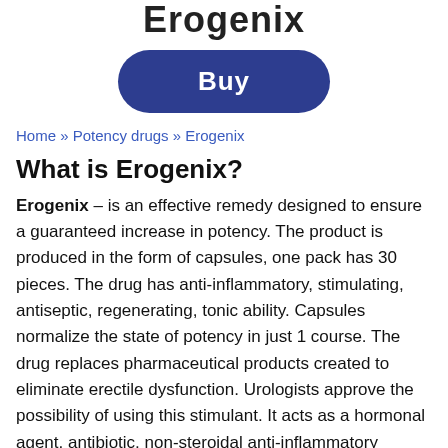Erogenix
[Figure (other): Buy button — dark navy rounded rectangle with bold white text 'Buy']
Home » Potency drugs » Erogenix
What is Erogenix?
Erogenix – is an effective remedy designed to ensure a guaranteed increase in potency. The product is produced in the form of capsules, one pack has 30 pieces. The drug has anti-inflammatory, stimulating, antiseptic, regenerating, tonic ability. Capsules normalize the state of potency in just 1 course. The drug replaces pharmaceutical products created to eliminate erectile dysfunction. Urologists approve the possibility of using this stimulant. It acts as a hormonal agent, antibiotic, non-steroidal anti-inflammatory medication.